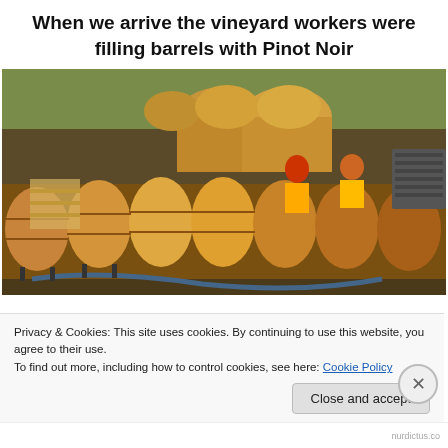When we arrive the vineyard workers were filling barrels with Pinot Noir
[Figure (photo): Vineyard workers in high-visibility vests filling rows of wooden wine barrels with Pinot Noir. Multiple large oak barrels arranged in rows outdoors. Workers visible in background among barrels and equipment.]
Privacy & Cookies: This site uses cookies. By continuing to use this website, you agree to their use.
To find out more, including how to control cookies, see here: Cookie Policy
Close and accept